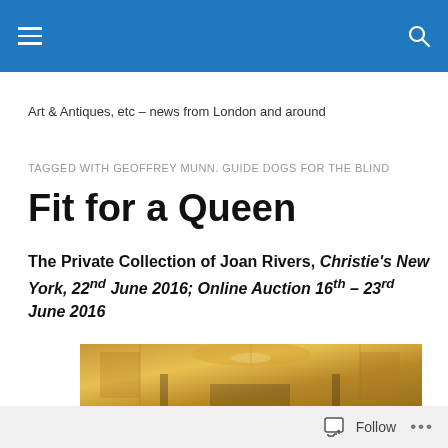Art & Antiques, etc – news from London and around
TAGGED WITH GEOFFREY MUNN. GUIDE DOGS FOR THE BLIND
Fit for a Queen
The Private Collection of Joan Rivers, Christie's New York, 22nd June 2016; Online Auction 16th – 23rd June 2016
[Figure (photo): Partial view of an ornate gilded room interior, warm golden lighting]
Follow